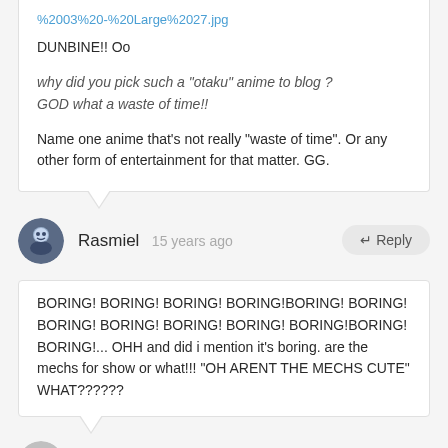%2003%20-%20Large%2027.jpg
DUNBINE!! Oo
why did you pick such a "otaku" anime to blog ? GOD what a waste of time!!
Name one anime that's not really "waste of time". Or any other form of entertainment for that matter. GG.
Rasmiel 15 years ago ← Reply
BORING! BORING! BORING! BORING!BORING! BORING! BORING! BORING! BORING! BORING! BORING!BORING! BORING!... OHH and did i mention it's boring. are the mechs for show or what!!! "OH ARENT THE MECHS CUTE" WHAT??????
brooklyn otaku 15 years ago ← Reply